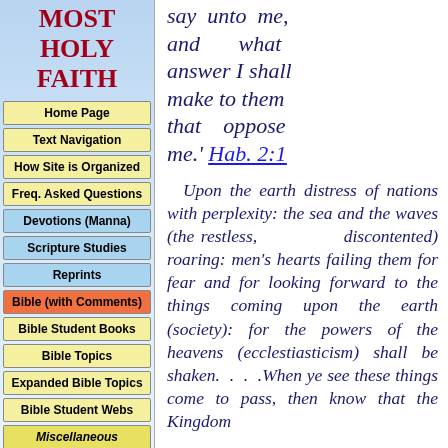MOST HOLY FAITH
Home Page
Text Navigation
How Site is Organized
Freq. Asked Questions
Devotions (Manna)
Scripture Studies
Reprints
Bible (with Comments)
Bible Student Books
Bible Topics
Expanded Bible Topics
Bible Student Webs
Miscellaneous
say unto me, and what answer I shall make to them that oppose me.' Hab. 2:1
Upon the earth distress of nations with perplexity: the sea and the waves (the restless, discontented) roaring: men's hearts failing them for fear and for looking forward to the things coming upon the earth (society): for the powers of the heavens (ecclestiasticism) shall be shaken. . . .When ye see these things come to pass, then know that the Kingdom